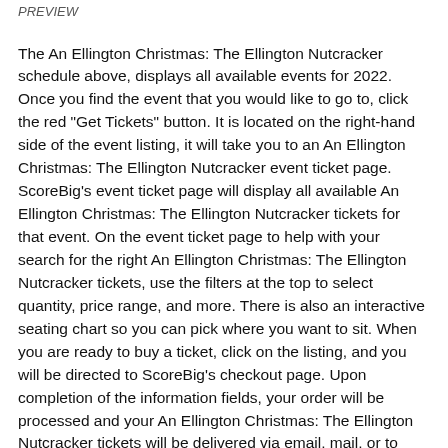PREVIEW
The An Ellington Christmas: The Ellington Nutcracker schedule above, displays all available events for 2022. Once you find the event that you would like to go to, click the red "Get Tickets" button. It is located on the right-hand side of the event listing, it will take you to an An Ellington Christmas: The Ellington Nutcracker event ticket page. ScoreBig's event ticket page will display all available An Ellington Christmas: The Ellington Nutcracker tickets for that event. On the event ticket page to help with your search for the right An Ellington Christmas: The Ellington Nutcracker tickets, use the filters at the top to select quantity, price range, and more. There is also an interactive seating chart so you can pick where you want to sit. When you are ready to buy a ticket, click on the listing, and you will be directed to ScoreBig's checkout page. Upon completion of the information fields, your order will be processed and your An Ellington Christmas: The Ellington Nutcracker tickets will be delivered via email, mail, or to your mobile device.
What makes ScoreBig's site stand out from the rest? We are constantly analyzing our competitors to improve our site, service, and prices. ScoreBig.com employees strive to offer the best process and experience to buy cheap An Ellington Christmas: The Ellington Nutcracker tickets. Our goal is to get you the best seats to An Ellington Christmas: The Ellington Nutcracker events. We offer daily discounts on our site and for special promotions check out our newsletter. If there are no An Ellington Christmas: The Ellington Nutcracker events currently